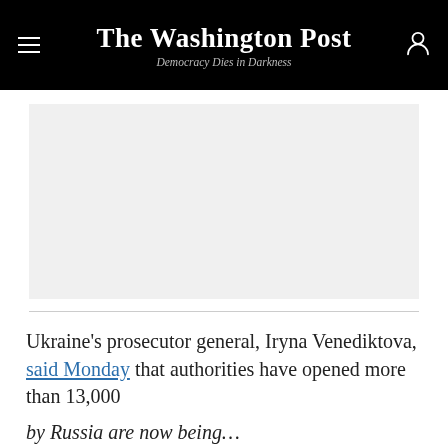The Washington Post — Democracy Dies in Darkness
[Figure (photo): Gray placeholder image area representing a photo or embedded media]
Ukraine's prosecutor general, Iryna Venediktova, said Monday that authorities have opened more than 13,000
by Russia are now being...